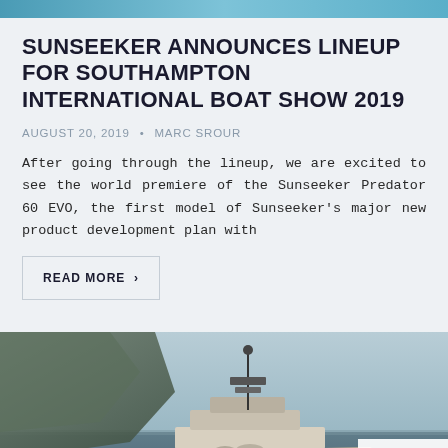SUNSEEKER ANNOUNCES LINEUP FOR SOUTHAMPTON INTERNATIONAL BOAT SHOW 2019
AUGUST 20, 2019 • MARC SROUR
After going through the lineup, we are excited to see the world premiere of the Sunseeker Predator 60 EVO, the first model of Sunseeker's major new product development plan with
READ MORE >
[Figure (photo): A large luxury superyacht on calm water with rocky cliffs in the background under an overcast sky. A reCAPTCHA badge is visible in the bottom right corner.]